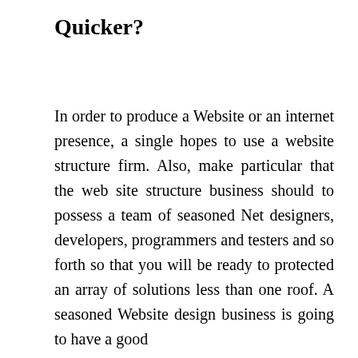Quicker?
In order to produce a Website or an internet presence, a single hopes to use a website structure firm. Also, make particular that the web site structure business should to possess a team of seasoned Net designers, developers, programmers and testers and so forth so that you will be ready to protected an array of solutions less than one roof. A seasoned Website design business is going to have a good